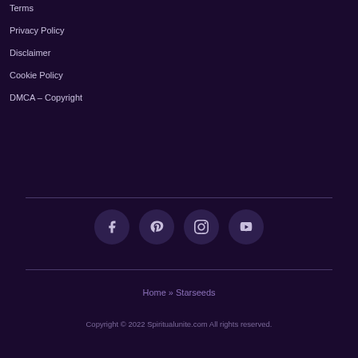Terms
Privacy Policy
Disclaimer
Cookie Policy
DMCA – Copyright
[Figure (other): Social media icons: Facebook, Pinterest, Instagram, YouTube]
Home » Starseeds
Copyright © 2022 Spiritualunite.com All rights reserved.